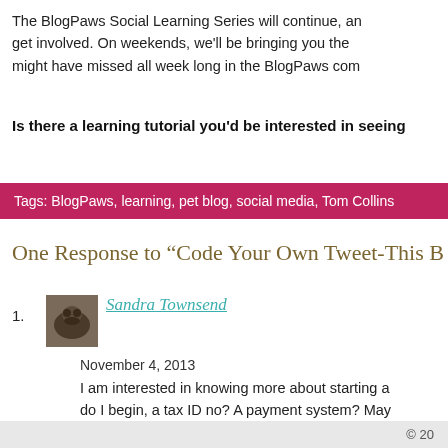The BlogPaws Social Learning Series will continue, and get involved. On weekends, we'll be bringing you the might have missed all week long in the BlogPaws comm
Is there a learning tutorial you'd be interested in seeing
Tags: BlogPaws, learning, pet blog, social media, Tom Collins
One Response to “Code Your Own Tweet-This B
Sandra Townsend
November 4, 2013
I am interested in knowing more about starting a do I begin, a tax ID no? A payment system? May BlogPaws session, if it hasn’t already been. Than
© 20